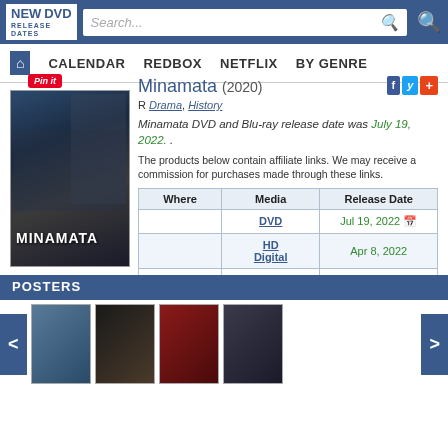NEW DVD RELEASE DATES | Search... | CALENDAR | REDBOX | NETFLIX | BY GENRE
Minamata (2020)
R Drama, History
Minamata DVD and Blu-ray release date was July 19, 2022. .
The products below contain affiliate links. We may receive a commission for purchases made through these links.
| Where | Media | Release Date |
| --- | --- | --- |
|  | DVD | Jul 19, 2022 |
|  | HD Digital | Apr 8, 2022 |
| iTunes |  | Apr 8, 2022 |
| redbox | not available |  |
| NETFLIX | DVD rental | Jul 19, 2022 (estimated) |
POSTERS